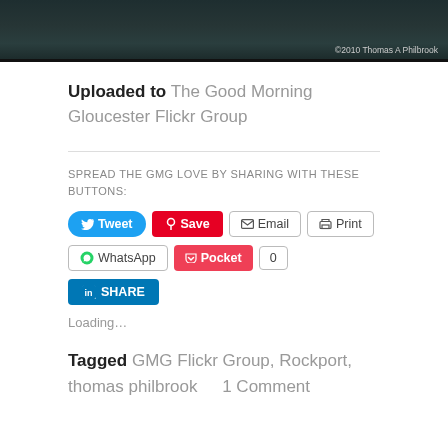[Figure (photo): Dark moody sky/water photo with copyright watermark '©2010 Thomas A Philbrook' in bottom right corner]
Uploaded to The Good Morning Gloucester Flickr Group
SPREAD THE GMG LOVE BY SHARING WITH THESE BUTTONS:
Tweet  Save  Email  Print  WhatsApp  Pocket  0  SHARE
Loading…
Tagged GMG Flickr Group, Rockport, thomas philbrook   1 Comment